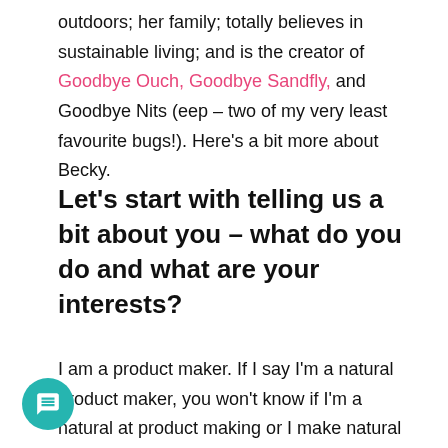outdoors; her family; totally believes in sustainable living; and is the creator of Goodbye Ouch, Goodbye Sandfly, and Goodbye Nits (eep – two of my very least favourite bugs!). Here's a bit more about Becky.
Let's start with telling us a bit about you – what do you do and what are your interests?
I am a product maker. If I say I'm a natural product maker, you won't know if I'm a natural at product making or I make natural products.  Perhaps I should say I'm a natural natural product maker, because that is true. What started as a bit of fun